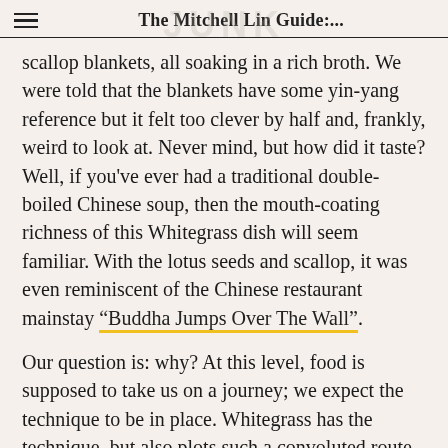The Mitchell Lin Guide:...
scallop blankets, all soaking in a rich broth. We were told that the blankets have some yin-yang reference but it felt too clever by half and, frankly, weird to look at. Never mind, but how did it taste? Well, if you've ever had a traditional double-boiled Chinese soup, then the mouth-coating richness of this Whitegrass dish will seem familiar. With the lotus seeds and scallop, it was even reminiscent of the Chinese restaurant mainstay “Buddha Jumps Over The Wall”.
Our question is: why? At this level, food is supposed to take us on a journey; we expect the technique to be in place. Whitegrass has the technique, but also plots such a convoluted route only to arrive at flavours